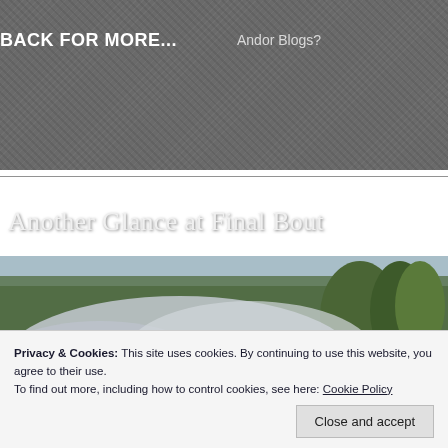BACK FOR MORE...   Andor Blogs?
Another Glance at Final Bout
[Figure (photo): Two white cars in a smoky outdoor scene with trees in the background, one car appearing to do a burnout with heavy smoke/dust surrounding them. A blue light is visible in the background.]
Privacy & Cookies: This site uses cookies. By continuing to use this website, you agree to their use.
To find out more, including how to control cookies, see here: Cookie Policy
Close and accept